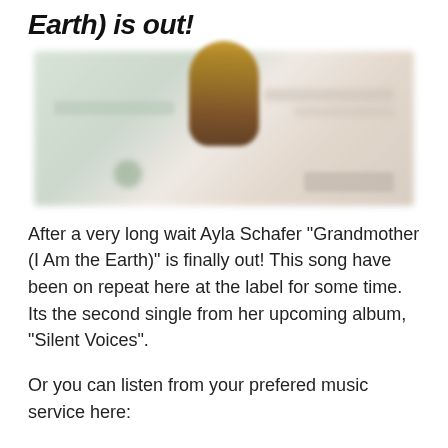Earth) is out!
[Figure (photo): Blurred social media post or album artwork featuring a person with a music streaming interface, with a green icon and follow button visible. Image is heavily blurred/redacted.]
After a very long wait Ayla Schafer "Grandmother (I Am the Earth)" is finally out! This song have been on repeat here at the label for some time. Its the second single from her upcoming album, "Silent Voices".
Or you can listen from your prefered music service here: